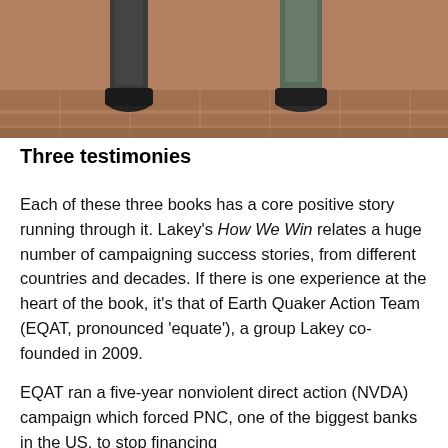[Figure (photo): Photo showing the lower legs and feet of two people standing on a brick-paved surface, wearing dark shoes and trousers.]
Three testimonies
Each of these three books has a core positive story running through it. Lakey's How We Win relates a huge number of campaigning success stories, from different countries and decades. If there is one experience at the heart of the book, it's that of Earth Quaker Action Team (EQAT, pronounced 'equate'), a group Lakey co-founded in 2009.
EQAT ran a five-year nonviolent direct action (NVDA) campaign which forced PNC, one of the biggest banks in the US, to stop financing